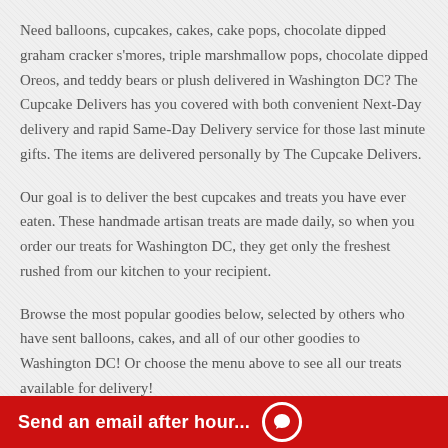Need balloons, cupcakes, cakes, cake pops, chocolate dipped graham cracker s'mores, triple marshmallow pops, chocolate dipped Oreos, and teddy bears or plush delivered in Washington DC? The Cupcake Delivers has you covered with both convenient Next-Day delivery and rapid Same-Day Delivery service for those last minute gifts. The items are delivered personally by The Cupcake Delivers.
Our goal is to deliver the best cupcakes and treats you have ever eaten. These handmade artisan treats are made daily, so when you order our treats for Washington DC, they get only the freshest rushed from our kitchen to your recipient.
Browse the most popular goodies below, selected by others who have sent balloons, cakes, and all of our other goodies to Washington DC! Or choose the menu above to see all our treats available for delivery!
SOME OF OUR BEST SELLERS!